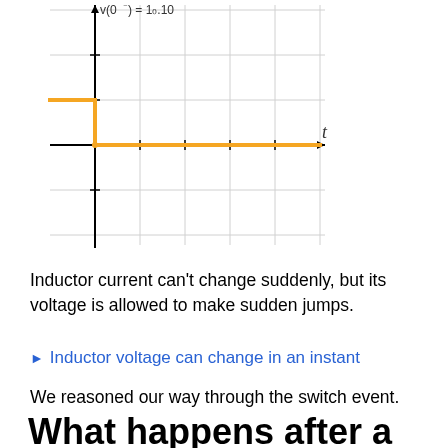[Figure (continuous-plot): Step function graph showing inductor voltage v(t) vs time t. Orange vertical line goes up from the x-axis origin, then horizontal orange line extends to the left at a positive y level. Black axes with gridlines. The function shows a positive value before t=0 and zero after.]
Inductor current can't change suddenly, but its voltage is allowed to make sudden jumps.
Inductor voltage can change in an instant
We reasoned our way through the switch event.
What happens after a long